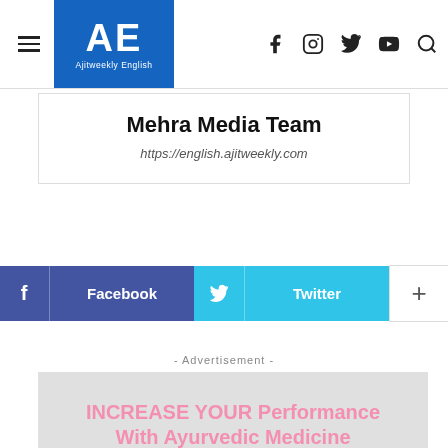AE Ajitweekly English
Mehra Media Team
https://english.ajitweekly.com
[Figure (infographic): Share buttons: Facebook (dark blue), Twitter (cyan/blue), and a plus button (white)]
- Advertisement -
[Figure (infographic): Advertisement banner: INCREASE YOUR Performance With Ayurvedic Medicine And Enjoy Sex Life, pink bold text on grey background]